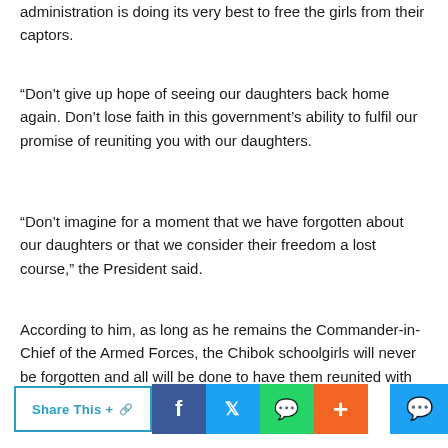administration is doing its very best to free the girls from their captors.
“Don’t give up hope of seeing our daughters back home again. Don’t lose faith in this government’s ability to fulfil our promise of reuniting you with our daughters.
“Don’t imagine for a moment that we have forgotten about our daughters or that we consider their freedom a lost course,” the President said.
According to him, as long as he remains the Commander-in-Chief of the Armed Forces, the Chibok schoolgirls will never be forgotten and all will be done to have them reunited with their families.